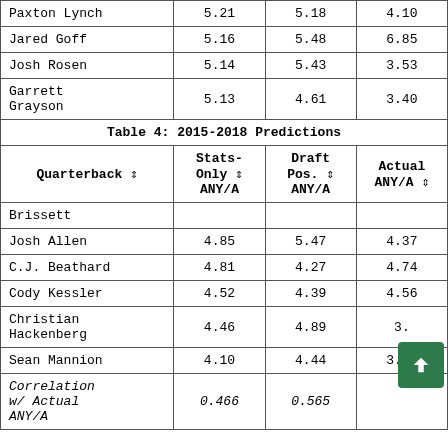| Quarterback | Stats-Only ANY/A | Draft Pos. ANY/A | Actual ANY/A |
| --- | --- | --- | --- |
| Paxton Lynch | 5.21 | 5.18 | 4.10 |
| Jared Goff | 5.16 | 5.48 | 6.85 |
| Josh Rosen | 5.14 | 5.43 | 3.53 |
| Garrett Grayson | 5.13 | 4.61 | 3.40 |
| Table 4: 2015-2018 Predictions |  |  |  |
| Quarterback | Stats-Only ANY/A | Draft Pos. ANY/A | Actual ANY/A |
| Brissett |  |  |  |
| Josh Allen | 4.85 | 5.47 | 4.37 |
| C.J. Beathard | 4.81 | 4.27 | 4.74 |
| Cody Kessler | 4.52 | 4.39 | 4.56 |
| Christian Hackenberg | 4.46 | 4.89 | 3. |
| Sean Mannion | 4.10 | 4.44 | 3.45 |
| Correlation w/ Actual ANY/A | 0.466 | 0.565 |  |